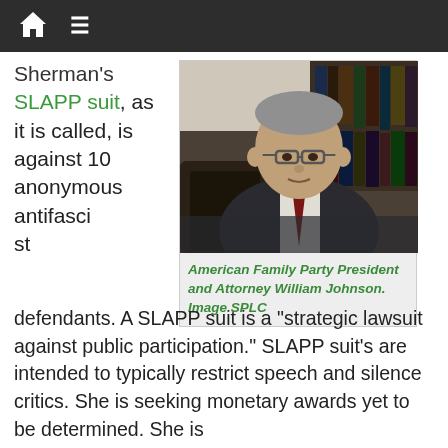🏠 ☰
Sherman's SLAPP suit, as it is called, is against 10 anonymous antifascist defendants.
[Figure (photo): Man in suit sitting at desk with bookcase behind him, identified as American Family Party President and Attorney William Johnson. Image SPLC]
American Family Party President and Attorney William Johnson. Image SPLC
defendants. A SLAPP suit is a "strategic lawsuit against public participation." SLAPP suit's are intended to typically restrict speech and silence critics. She is seeking monetary awards yet to be determined. She is